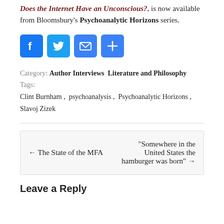Does the Internet Have an Unconscious?, is now available from Bloomsbury's Psychoanalytic Horizons series.
[Figure (infographic): Four social share buttons: Facebook (blue), Twitter (blue), Email (blue), and Add/Share (blue) icons]
Category: Author Interviews  Literature and Philosophy  Tags: Clint Burnham , psychoanalysis , Psychoanalytic Horizons , Slavoj Zizek
← The State of the MFA
"Somewhere in the United States the hamburger was born" →
Leave a Reply